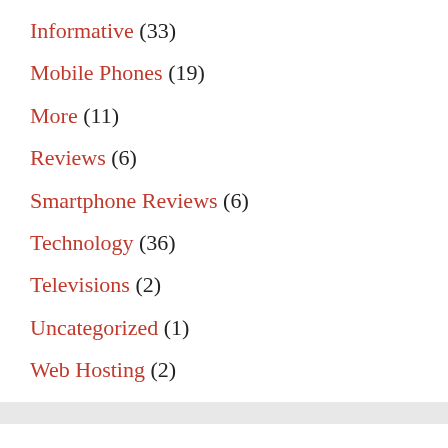Informative (33)
Mobile Phones (19)
More (11)
Reviews (6)
Smartphone Reviews (6)
Technology (36)
Televisions (2)
Uncategorized (1)
Web Hosting (2)
THIS SITE IS PROTECTED BY DMCA
[Figure (logo): DMCA protection logo - green circular badge]